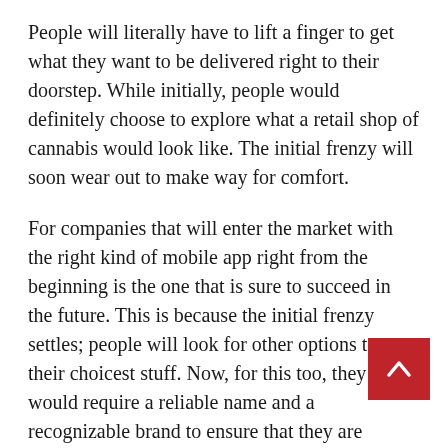People will literally have to lift a finger to get what they want to be delivered right to their doorstep. While initially, people would definitely choose to explore what a retail shop of cannabis would look like. The initial frenzy will soon wear out to make way for comfort.
For companies that will enter the market with the right kind of mobile app right from the beginning is the one that is sure to succeed in the future. This is because the initial frenzy settles; people will look for other options to get their choicest stuff. Now, for this too, they would require a reliable name and a recognizable brand to ensure that they are buying from a “credible source”.
No matter what the business is, technology is always the savior. Today, if people can recognize,